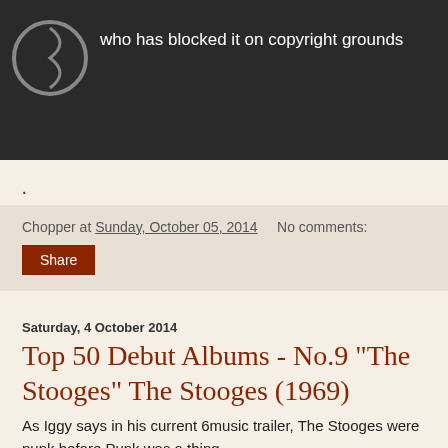[Figure (screenshot): Dark video player area showing YouTube copyright block message with circular icon and text 'who has blocked it on copyright grounds']
.
Chopper at Sunday, October 05, 2014     No comments:
Share
Saturday, 4 October 2014
Top 50 Debut Albums - No.9 "The Stooges" The Stooges (1969)
As Iggy says in his current 6music trailer, The Stooges were punk before Punk was a thing.